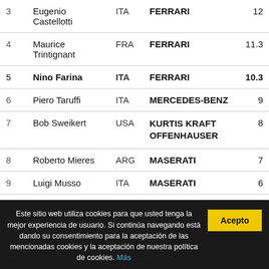| Pos | Name | Nat | Car | Pts |
| --- | --- | --- | --- | --- |
| 3 | Eugenio Castellotti | ITA | FERRARI | 12 |
| 4 | Maurice Trintignant | FRA | FERRARI | 11.3 |
| 5 | Nino Farina | ITA | FERRARI | 10.3 |
| 6 | Piero Taruffi | ITA | MERCEDES-BENZ | 9 |
| 7 | Bob Sweikert | USA | KURTIS KRAFT OFFENHAUSER | 8 |
| 8 | Roberto Mieres | ARG | MASERATI | 7 |
| 9 | Luigi Musso | ITA | MASERATI | 6 |
| 9 | Jean Behra | FRA | MASERATI | 6 |
| 11 | Karl Kling | GER | MERCEDES-BENZ | 5 |
Este sitio web utiliza cookies para que usted tenga la mejor experiencia de usuario. Si continúa navegando está dando su consentimiento para la aceptación de las mencionadas cookies y la aceptación de nuestra política de cookies. Más